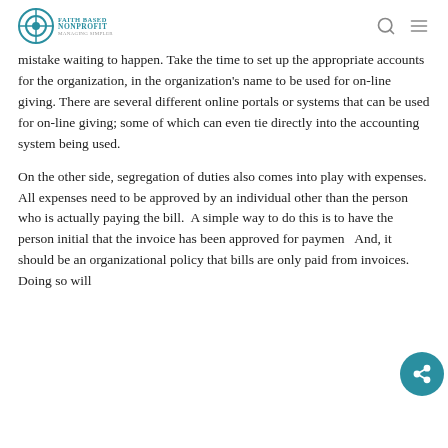Faith Based Nonprofit
mistake waiting to happen. Take the time to set up the appropriate accounts for the organization, in the organization's name to be used for on-line giving. There are several different online portals or systems that can be used for on-line giving; some of which can even tie directly into the accounting system being used.
On the other side, segregation of duties also comes into play with expenses. All expenses need to be approved by an individual other than the person who is actually paying the bill. A simple way to do this is to have the person initial that the invoice has been approved for payment. And, it should be an organizational policy that bills are only paid from invoices. Doing so will